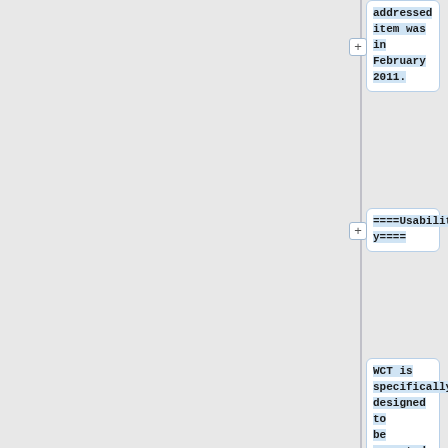addressed item was in February 2011.
====Usability====
WCT is specifically designed to be operated by non-technical users such as librarians, with a simple and relatively intuitive GUI.